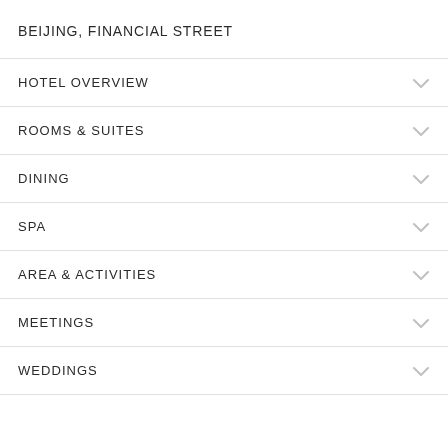BEIJING, FINANCIAL STREET
HOTEL OVERVIEW
ROOMS & SUITES
DINING
SPA
AREA & ACTIVITIES
MEETINGS
WEDDINGS